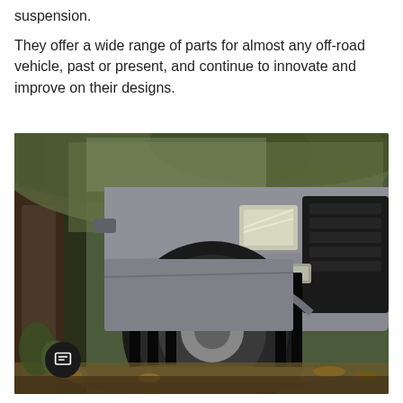suspension.
They offer a wide range of parts for almost any off-road vehicle, past or present, and continue to innovate and improve on their designs.
[Figure (photo): Close-up photograph of a silver/grey Toyota Tacoma pickup truck navigating through a wooded forest trail, driving over a log obstacle on a forest floor covered with fallen leaves and debris. Trees visible in background with autumn foliage.]